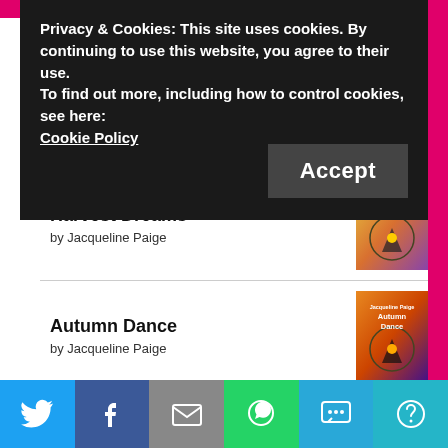Privacy & Cookies: This site uses cookies. By continuing to use this website, you agree to their use.
To find out more, including how to control cookies, see here:
Cookie Policy
by Jacqueline Paige (partial, cut off)
Beltane Magic
by Jacqueline Paige
Harvest Dreams
by Jacqueline Paige
Autumn Dance
by Jacqueline Paige